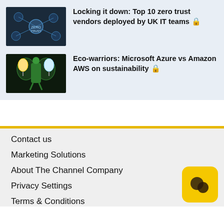[Figure (photo): Thumbnail image of zero trust security network nodes on dark background]
Locking it down: Top 10 zero trust vendors deployed by UK IT teams 🔒
[Figure (photo): Thumbnail image of cartoon green figure holding light bulbs, eco/sustainability concept]
Eco-warriors: Microsoft Azure vs Amazon AWS on sustainability 🔒
Contact us
Marketing Solutions
About The Channel Company
Privacy Settings
Terms & Conditions
[Figure (logo): The Channel Company logo - yellow rounded square with two dark overlapping circles]